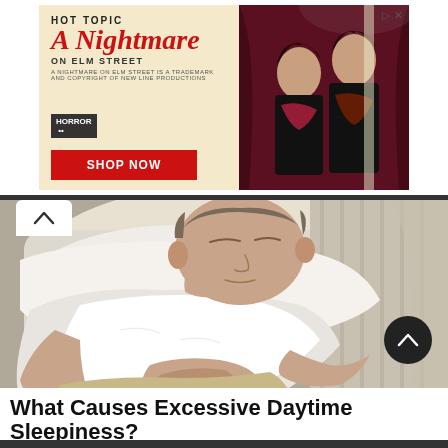[Figure (screenshot): Advertisement banner for Hot Topic's 'A Nightmare on Elm Street' merchandise with red title text, 'SHOP NOW' button, and photo of two people in horror-themed clothing on a dark red background]
[Figure (photo): Person sleeping/resting on a bed or couch wearing a white t-shirt and light-colored shorts, lying on their back with eyes closed]
What Causes Excessive Daytime Sleepiness?